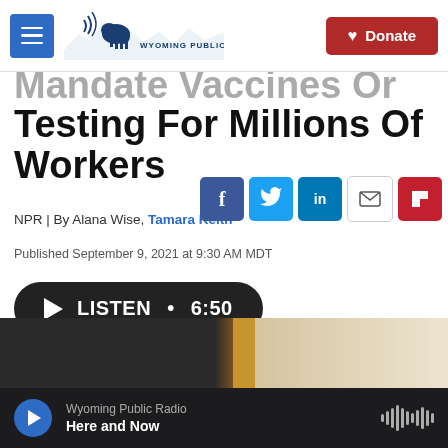Wyoming Public Media | Donate
Mandate Vaccines Or Testing For Millions Of Workers
NPR | By Alana Wise, Tamara Keith
Published September 9, 2021 at 9:30 AM MDT
[Figure (other): Social sharing buttons: Facebook, Twitter, LinkedIn, Email, Flipboard]
[Figure (other): Listen audio button showing duration 6:50]
[Figure (photo): Partial photo of a person at what appears to be a formal setting]
Wyoming Public Radio | Here and Now